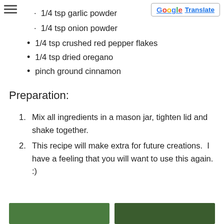1/4 tsp garlic powder
1/4 tsp onion powder
1/4 tsp crushed red pepper flakes
1/4 tsp dried oregano
pinch ground cinnamon
Preparation:
Mix all ingredients in a mason jar, tighten lid and shake together.
This recipe will make extra for future creations.  I have a feeling that you will want to use this again. :)
Related Posts
[Figure (photo): Two thumbnail images of food/recipe related photos at the bottom of the page]